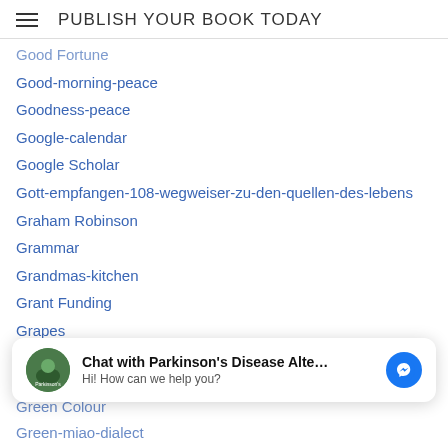PUBLISH YOUR BOOK TODAY
Good Fortune
Good-morning-peace
Goodness-peace
Google-calendar
Google Scholar
Gott-empfangen-108-wegweiser-zu-den-quellen-des-lebens
Graham Robinson
Grammar
Grandmas-kitchen
Grant Funding
Grapes
Greek
Green
[Figure (infographic): Chat widget overlay: avatar of Parkinson's Disease Alternatives page, text 'Chat with Parkinson's Disease Alte...' and 'Hi! How can we help you?', with Facebook Messenger icon]
Green Colour
Green-miao-dialect